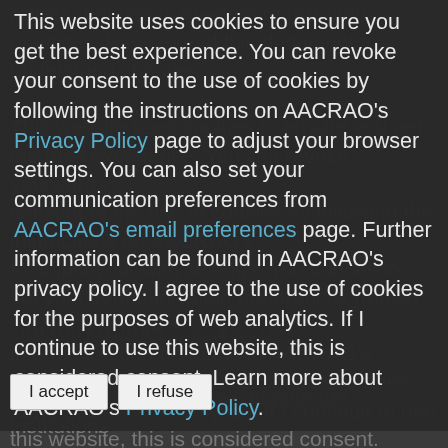reflect changes to meeting registration practices. Please read this document to understand changes.
This website uses cookies to ensure you get the best experience. You can revoke your consent to the use of cookies by following the instructions on AACRAO's Privacy Policy page to adjust your browser settings. You can also set your communication preferences from AACRAO's email preferences page. Further information can be found in AACRAO's privacy policy. I agree to the use of cookies for the purposes of web analytics. If I continue to use this website, this is considered consent. Learn more about AACRAO's Privacy Policy.
Moving from CLR to LER
As the CLR efforts continue through the AACRAO community, we encourage institutions